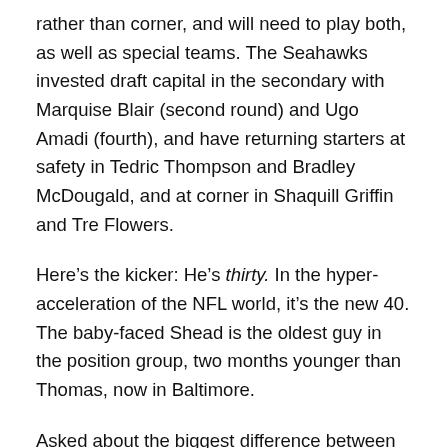rather than corner, and will need to play both, as well as special teams. The Seahawks invested draft capital in the secondary with Marquise Blair (second round) and Ugo Amadi (fourth), and have returning starters at safety in Tedric Thompson and Bradley McDougald, and at corner in Shaquill Griffin and Tre Flowers.
Here's the kicker: He's thirty. In the hyper-acceleration of the NFL world, it's the new 40. The baby-faced Shead is the oldest guy in the position group, two months younger than Thomas, now in Baltimore.
Asked about the biggest difference between the Seahawks he left and the team to which he returns, he was honest.
“Age — everybody’s younger,” he said. “Those guys were all older than me. I was able to lean on them, and learn from some of the best in the game.”